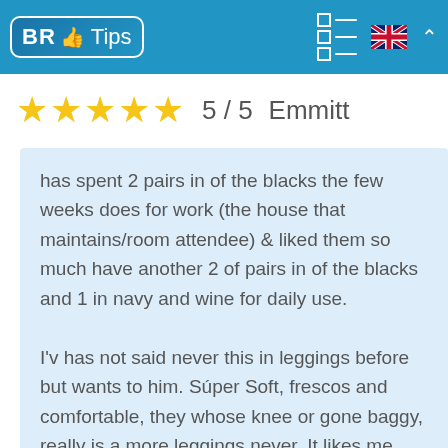BR Tips
5 / 5   Emmitt
has spent 2 pairs in of the blacks the few weeks does for work (the house that maintains/room attendee) & liked them so much have another 2 of pairs in of the blacks and 1 in navy and wine for daily use.
I'v has not said never this in leggings before but wants to him. Súper Soft, frescos and comfortable, they whose knee or gone baggy, really is a more leggings never. It likes me quell'has said I houses to act to maintain and are any in my knees tucking in of the beds or bending